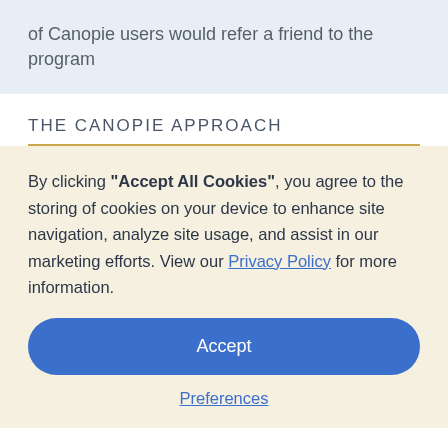of Canopie users would refer a friend to the program
THE CANOPIE APPROACH
By clicking "Accept All Cookies", you agree to the storing of cookies on your device to enhance site navigation, analyze site usage, and assist in our marketing efforts. View our Privacy Policy for more information.
Accept
Preferences